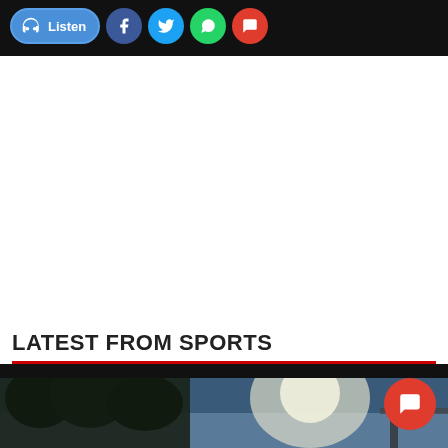Listen | Social share buttons (Facebook, Twitter, WhatsApp, Comments)
LATEST FROM SPORTS
[Figure (photo): Outdoor sports venue photo showing trees silhouetted against a bright sky with stadium lighting/floodlight visible]